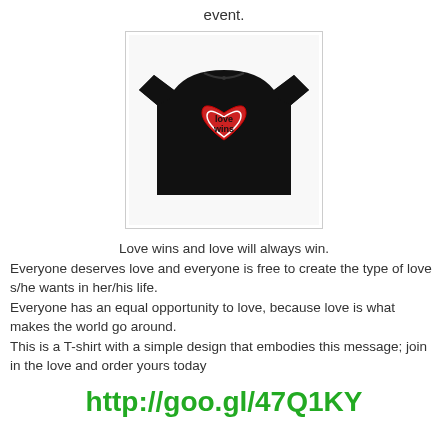event.
[Figure (photo): A black t-shirt with a red heart design and text 'love wins' printed on the front.]
Love wins and love will always win.
Everyone deserves love and everyone is free to create the type of love s/he wants in her/his life.
Everyone has an equal opportunity to love, because love is what makes the world go around.
This is a T-shirt with a simple design that embodies this message; join in the love and order yours today
http://goo.gl/47Q1KY